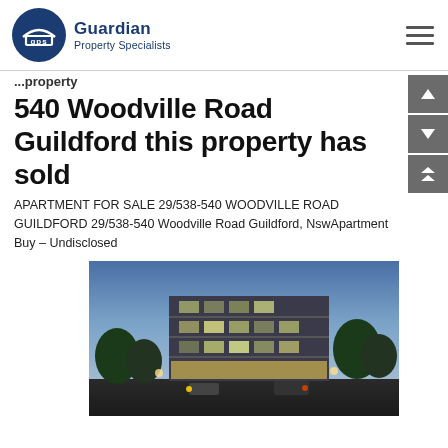[Figure (logo): Guardian Property Specialists logo with GPS circular navy badge and company name]
540 Woodville Road Guildford this property has sold
APARTMENT FOR SALE 29/538-540 WOODVILLE ROAD GUILDFORD 29/538-540 Woodville Road Guildford, NswApartment Buy – Undisclosed
[Figure (photo): Exterior render of a modern multi-storey apartment building at dusk with parked cars on the street]